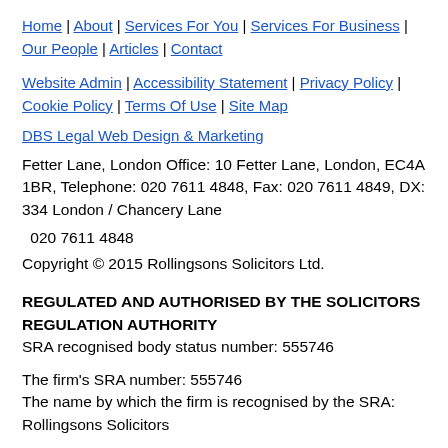Home | About | Services For You | Services For Business | Our People | Articles | Contact
Website Admin | Accessibility Statement | Privacy Policy | Cookie Policy | Terms Of Use | Site Map
DBS Legal Web Design & Marketing
Fetter Lane, London Office: 10 Fetter Lane, London, EC4A 1BR, Telephone: 020 7611 4848, Fax: 020 7611 4849, DX: 334 London / Chancery Lane
020 7611 4848
Copyright © 2015 Rollingsons Solicitors Ltd.
REGULATED AND AUTHORISED BY THE SOLICITORS REGULATION AUTHORITY
SRA recognised body status number: 555746
The firm's SRA number: 555746
The name by which the firm is recognised by the SRA: Rollingsons Solicitors